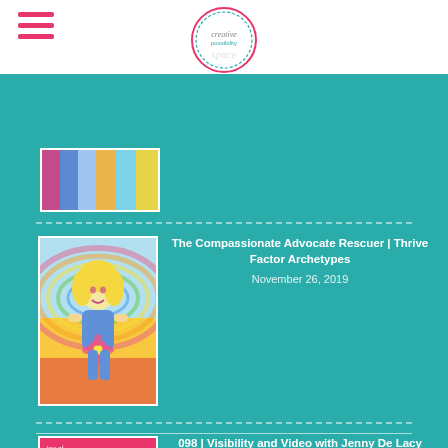Creative Possibility
[Figure (illustration): Partial colorful book/artwork cover strip at top of teal area]
[Figure (illustration): Colorful illustration of a blonde girl holding a flower, rainbow background - Compassionate Advocate Rescuer archetype]
The Compassionate Advocate Rescuer | Thrive Factor Archetypes
November 26, 2019
[Figure (illustration): Law of Effortlessness podcast cover art with two women]
098 | Visibility and Video with Jenny De Lacy
August 23, 2019